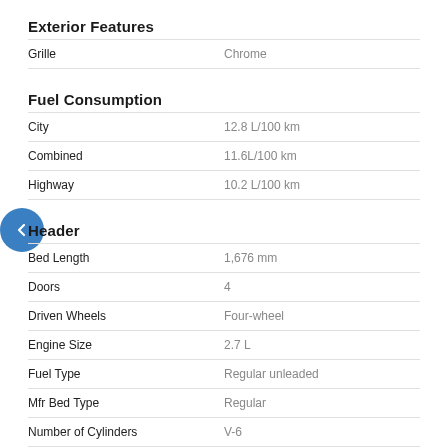Exterior Features
| Feature | Value |
| --- | --- |
| Grille | Chrome |
Fuel Consumption
| Feature | Value |
| --- | --- |
| City | 12.8 L/100 km |
| Combined | 11.6L/100 km |
| Highway | 10.2 L/100 km |
Header
| Feature | Value |
| --- | --- |
| Bed Length | 1,676 mm |
| Doors | 4 |
| Driven Wheels | Four-wheel |
| Engine Size | 2.7 L |
| Fuel Type | Regular unleaded |
| Mfr Bed Type | Regular |
| Number of Cylinders | V-6 |
| Trans Speeds - VA | 10 |